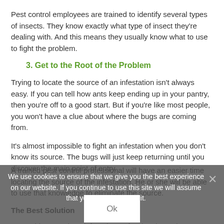Pest control employees are trained to identify several types of insects. They know exactly what type of insect they're dealing with. And this means they usually know what to use to fight the problem.
3. Get to the Root of the Problem
Trying to locate the source of an infestation isn't always easy. If you can tell how ants keep ending up in your pantry, then you're off to a good start. But if you're like most people, you won't have a clue about where the bugs are coming from.
It's almost impossible to fight an infestation when you don't know its source. The bugs will just keep returning until you discover the main point of entry.
A trained pest control professional will have an easier time locating the source of the infestation. He or she will be able to use that knowledge to eliminate the source.
We use cookies to ensure that we give you the best experience on our website. If you continue to use this site we will assume that you are happy with it.
The Best Solution
Some things are best left to the professionals, and pest control is one of those things. You might think it's easier and cheaper to deal with the problem on your own.